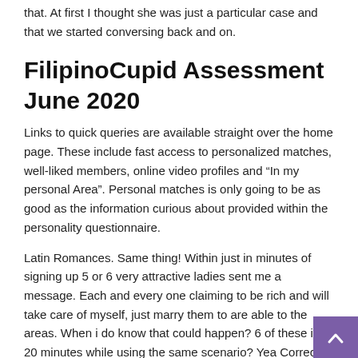that. At first I thought she was just a particular case and that we started conversing back and on.
FilipinoCupid Assessment June 2020
Links to quick queries are available straight over the home page. These include fast access to personalized matches, well-liked members, online video profiles and "In my personal Area". Personal matches is only going to be as good as the information curious about provided within the personality questionnaire.
Latin Romances. Same thing! Within just in minutes of signing up 5 or 6 very attractive ladies sent me a message. Each and every one claiming to be rich and will take care of myself, just marry them to are able to the areas. When i do know that could happen? 6 of these in 20 minutes while using the same scenario? Yea Correct! Best simply to travel to where you want them to go in order to find what you are